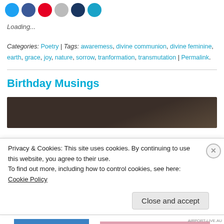[Figure (illustration): Row of social media sharing icon circles: blue (Twitter), blue (Facebook), red (Pinterest), gray (unknown), dark navy (LinkedIn), blue (email/other)]
Loading...
Categories: Poetry | Tags: awaremess, divine communion, divine feminine, earth, grace, joy, nature, sorrow, tranformation, transmutation | Permalink.
Birthday Musings
[Figure (photo): Dark brown/earthy textured background image, partially visible]
Privacy & Cookies: This site uses cookies. By continuing to use this website, you agree to their use.
To find out more, including how to control cookies, see here: Cookie Policy
Close and accept